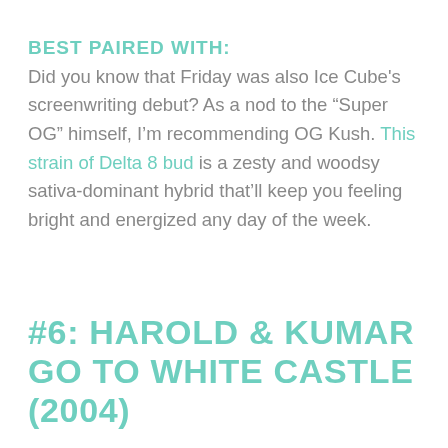BEST PAIRED WITH:
Did you know that Friday was also Ice Cube's screenwriting debut? As a nod to the “Super OG” himself, I'm recommending OG Kush. This strain of Delta 8 bud is a zesty and woodsy sativa-dominant hybrid that’ll keep you feeling bright and energized any day of the week.
#6: HAROLD & KUMAR GO TO WHITE CASTLE (2004)